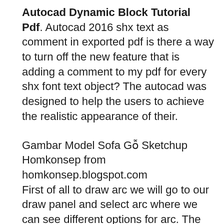Autocad Dynamic Block Tutorial Pdf. Autocad 2016 shx text as comment in exported pdf is there a way to turn off the new feature that is adding a comment to my pdf for every shx font text object? The autocad was designed to help the users to achieve the realistic appearance of their.
Gambar Model Sofa Gỗ Sketchup Homkonsep from homkonsep.blogspot.com First of all to draw arc we will go to our draw panel and select arc where we can see different options for arc. The single block edit is used to edit the values, text options, and properties of each attribute in a block. 8 full pdfs related to this paper.